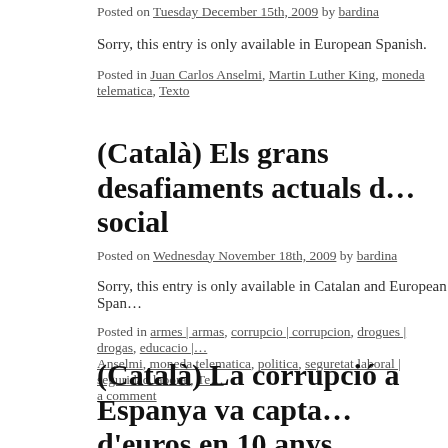Posted on Tuesday December 15th, 2009 by bardina
Sorry, this entry is only available in European Spanish.
Posted in Juan Carlos Anselmi, Martin Luther King, moneda telematica, Texto
(Català) Els grans desafiaments actuals d… social
Posted on Wednesday November 18th, 2009 by bardina
Sorry, this entry is only available in Catalan and European Span…
Posted in armes | armas, corrupcio | corrupcion, drogues | drogas, educacio |… Anselmi, moneda telematica, politica, seguretat laboral | seguridad laboral, Te… a comment
(Català) La corrupció a Espanya va capta… d'euros en 10 anys
Posted on Tuesday November 3rd, 2009 by bardina